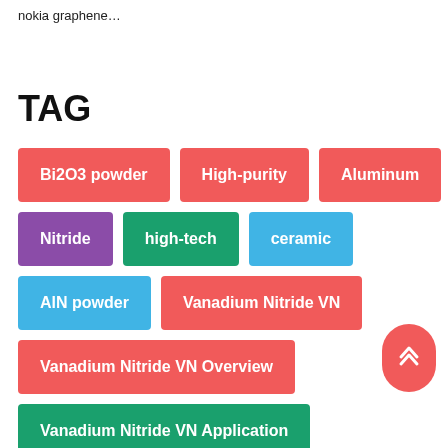nokia graphene…
TAG
Bi2O3 powder
High-purity
Aluminum
Nitride
high-tech
ceramic
AlN powder
Vanadium Nitride VN
Vanadium Nitride VN Overview
Vanadium Nitride VN Application
Vanadium Nitride VN Supplier